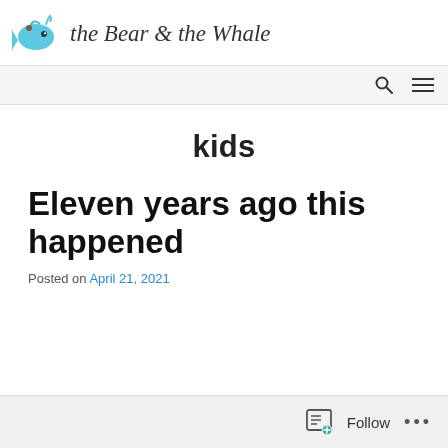[Figure (logo): The Bear & the Whale blog logo with a blue whale icon on the left and decorative handwritten-style text 'the Bear & the Whale' on the right]
kids
Eleven years ago this happened
Posted on April 21, 2021
Follow ...